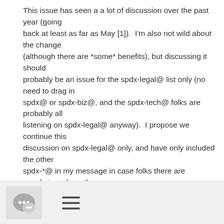This issue has seen a a lot of discussion over the past year (going back at least as far as May [1]).  I'm also not wild about the change (although there are *some* benefits), but discussing it should probably be an issue for the spdx-legal@ list only (no need to drag in spdx@ or spdx-biz@, and the spdx-tech@ folks are probably all listening on spdx-legal@ anyway).  I propose we continue this discussion on spdx-legal@ only, and have only included the other spdx-*@ in my message in case folks there are wondering where the conversation went ;).
Cheers,
Trevor
[1]: https://lists.spdx.org/pipermail/spdx-legal/2017...